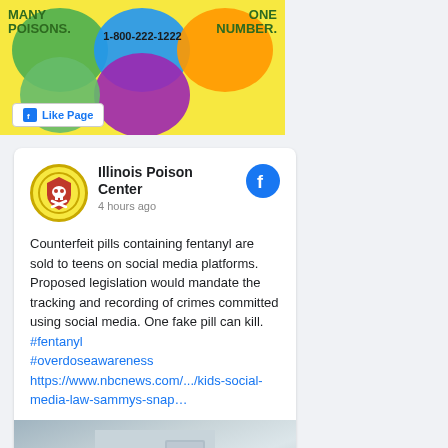[Figure (infographic): Illinois Poison Center colorful puzzle-piece graphic with phone number 1-800-222-1222 and Facebook Like Page button]
Illinois Poison Center
4 hours ago

Counterfeit pills containing fentanyl are sold to teens on social media platforms. Proposed legislation would mandate the tracking and recording of crimes committed using social media. One fake pill can kill. #fentanyl #overdoseawareness https://www.nbcnews.com/.../kids-social-media-law-sammys-snap…
[Figure (photo): Photo of a young teenage boy smiling, appearing to stand near a locker or door]